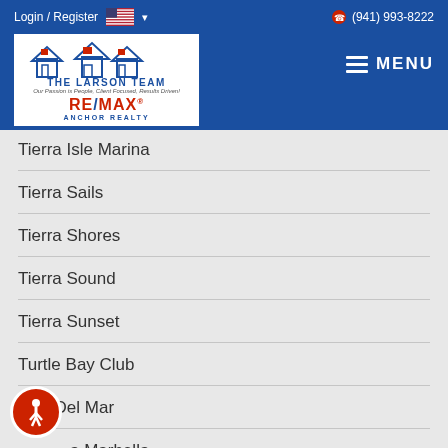Login / Register  (941) 993-8222  MENU
[Figure (logo): The Larson Team RE/MAX Anchor Realty logo with house icons]
Tierra Isle Marina
Tierra Sails
Tierra Shores
Tierra Sound
Tierra Sunset
Turtle Bay Club
Villa Del Mar
Villa Marbella
Village At Tierra Verde